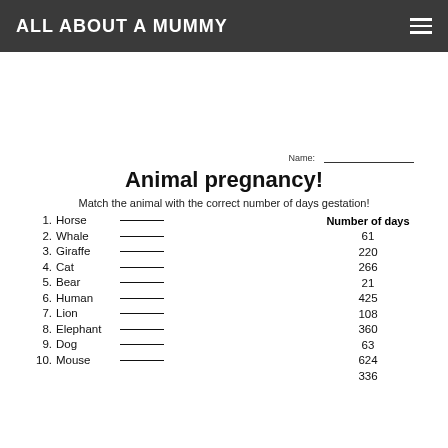ALL ABOUT A MUMMY
Name: _______________
Animal pregnancy!
Match the animal with the correct number of days gestation!
1. Horse ______
2. Whale ______
3. Giraffe ______
4. Cat ______
5. Bear ______
6. Human ______
7. Lion ______
8. Elephant ______
9. Dog ______
10. Mouse ______
| Number of days |
| --- |
| 61 |
| 220 |
| 266 |
| 21 |
| 425 |
| 108 |
| 360 |
| 63 |
| 624 |
| 336 |